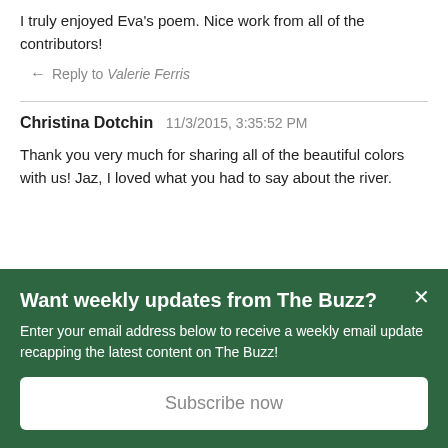I truly enjoyed Eva's poem. Nice work from all of the contributors!
Reply to Valerie Ferris
Christina Dotchin 11/3/2015, 3:35:52 PM
Thank you very much for sharing all of the beautiful colors with us! Jaz, I loved what you had to say about the river.
Want weekly updates from The Buzz?
Enter your email address below to receive a weekly email update recapping the latest content on The Buzz!
Subscribe now